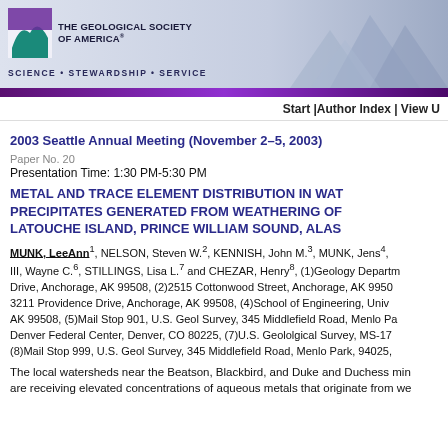[Figure (logo): The Geological Society of America logo with mountain background banner, 'SCIENCE • STEWARDSHIP • SERVICE' tagline]
Start |Author Index | View U
2003 Seattle Annual Meeting (November 2–5, 2003)
Paper No. 20
Presentation Time: 1:30 PM-5:30 PM
METAL AND TRACE ELEMENT DISTRIBUTION IN WATERS AND PRECIPITATES GENERATED FROM WEATHERING OF MINES ON LATOUCHE ISLAND, PRINCE WILLIAM SOUND, ALASKA
MUNK, LeeAnn1, NELSON, Steven W.2, KENNISH, John M.3, MUNK, Jens4, III, Wayne C.6, STILLINGS, Lisa L.7 and CHEZAR, Henry8, (1)Geology Department, Drive, Anchorage, AK 99508, (2)2515 Cottonwood Street, Anchorage, AK 99508, (3)3211 Providence Drive, Anchorage, AK 99508, (4)School of Engineering, Univ AK 99508, (5)Mail Stop 901, U.S. Geol Survey, 345 Middlefield Road, Menlo Pa Denver Federal Center, Denver, CO 80225, (7)U.S. Geololgical Survey, MS-17 (8)Mail Stop 999, U.S. Geol Survey, 345 Middlefield Road, Menlo Park, 94025,
The local watersheds near the Beatson, Blackbird, and Duke and Duchess mines are receiving elevated concentrations of aqueous metals that originate from we